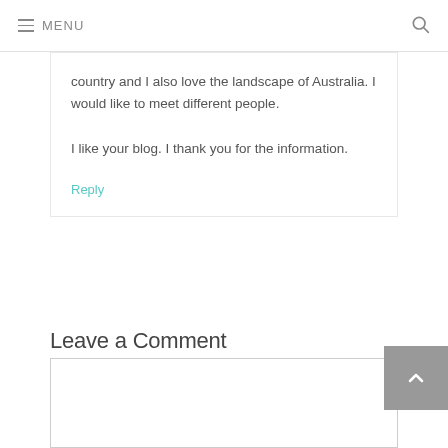MENU
country and I also love the landscape of Australia. I would like to meet different people.
I like your blog. I thank you for the information.
Reply
Leave a Comment